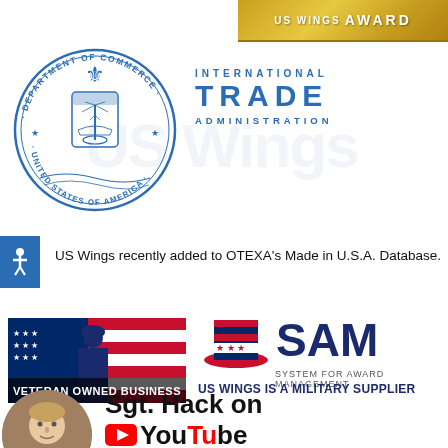[Figure (logo): US Wings Award gold banner with wings icon]
[Figure (logo): US Department of Commerce circular seal, blue outline with eagle and ship]
[Figure (logo): International Trade Administration text logo in blue]
US Wings recently added to OTEXA's Made in U.S.A. Database.
[Figure (logo): Veteran Owned Business logo with American flag silhouette]
[Figure (logo): SAM System for Award Management logo with Uncle Sam hat]
US WINGS IS A MILITARY SUPPLIER
[Figure (photo): Circular photo of Sgt. Hack, a man with light hair]
Sgt. Hack on YouTube